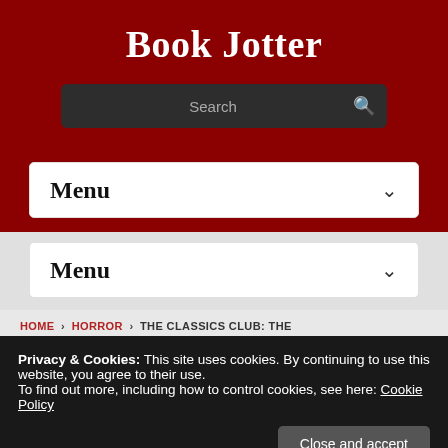Book Jotter
[Figure (screenshot): Search bar with dark background and magnifying glass icon]
Menu
Menu
HOME › HORROR › THE CLASSICS CLUB: THE
Privacy & Cookies: This site uses cookies. By continuing to use this website, you agree to their use.
To find out more, including how to control cookies, see here: Cookie Policy
Close and accept